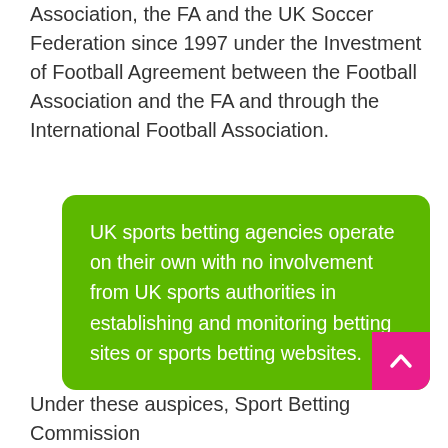Association, the FA and the UK Soccer Federation since 1997 under the Investment of Football Agreement between the Football Association and the FA and through the International Football Association.
UK sports betting agencies operate on their own with no involvement from UK sports authorities in establishing and monitoring betting sites or sports betting websites.
Under these auspices, Sport Betting Commission